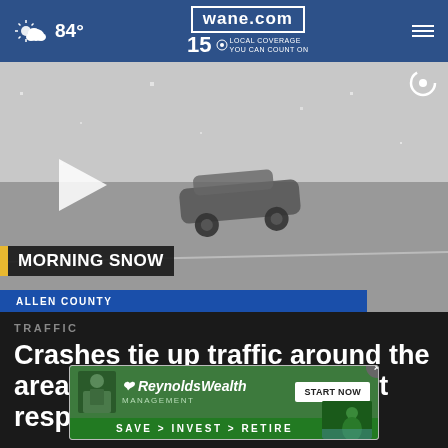wane.com 15 LOCAL COVERAGE YOU CAN COUNT ON | 84°
[Figure (screenshot): Video thumbnail showing an overturned car on a snowy road with a play button overlay. Lower bar shows 'MORNING SNOW' with yellow tab and 'ALLEN COUNTY' on blue bar.]
TRAFFIC
Crashes tie up traffic around the area as snow falls; FWPD not responding to crashes
[Figure (screenshot): Reynolds Wealth Management advertisement overlay with green background, logo, START NOW button, and SAVE > INVEST > RETIRE tagline with person image.]